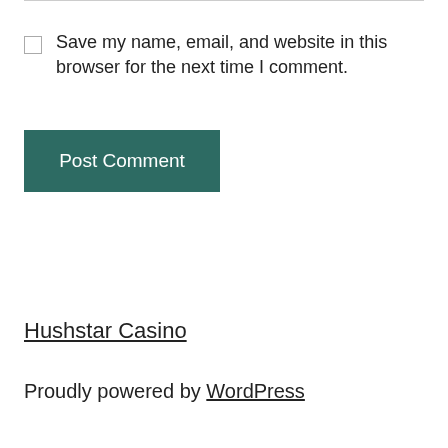Save my name, email, and website in this browser for the next time I comment.
Post Comment
Hushstar Casino
Proudly powered by WordPress